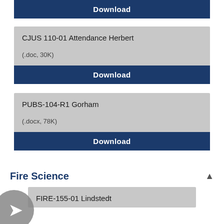Download
CJUS 110-01 Attendance Herbert
(.doc, 30K)
Download
PUBS-104-R1 Gorham
(.docx, 78K)
Download
Fire Science
FIRE-155-01 Lindstedt